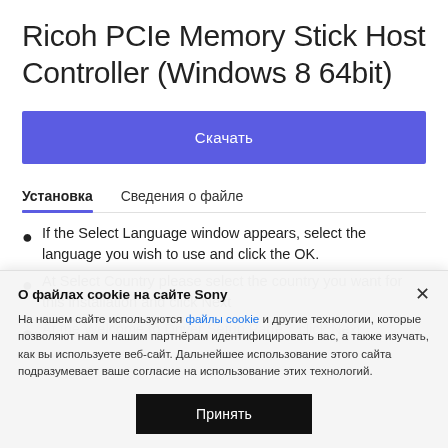Ricoh PCIe Memory Stick Host Controller (Windows 8 64bit)
Скачать
Установка   Сведения о файле
If the Select Language window appears, select the language you wish to use and click the OK.
At Select Country please select the country you want for this installation and click Next
О файлах cookie на сайте Sony
На нашем сайте используются файлы cookie и другие технологии, которые позволяют нам и нашим партнёрам идентифицировать вас, а также изучать, как вы используете веб-сайт. Дальнейшее использование этого сайта подразумевает ваше согласие на использование этих технологий.
Принять